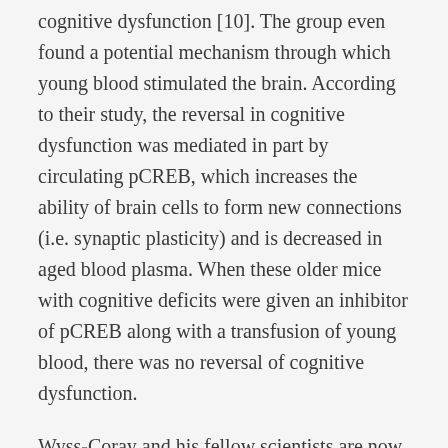cognitive dysfunction [10]. The group even found a potential mechanism through which young blood stimulated the brain. According to their study, the reversal in cognitive dysfunction was mediated in part by circulating pCREB, which increases the ability of brain cells to form new connections (i.e. synaptic plasticity) and is decreased in aged blood plasma. When these older mice with cognitive deficits were given an inhibitor of pCREB along with a transfusion of young blood, there was no reversal of cognitive dysfunction.
Wyss-Coray and his fellow scientists are now working to find out which other circulating factors, if any, are lost or gained with age and the manipulation of which can restore brain function [11]. He's additionally formed a start-up, Alkahest, which as of one week ago had just